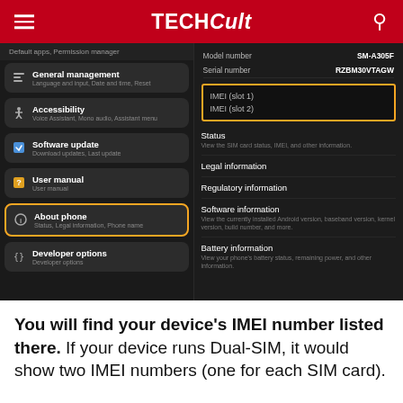TECHCult
[Figure (screenshot): Samsung Android Settings screenshot showing two panels: left panel with menu items including General management, Accessibility, Software update, User manual, About phone (highlighted in orange), and Developer options; right panel showing device info with Model number SM-A305F, Serial number RZBM30VTAGW, IMEI (slot 1) and IMEI (slot 2) highlighted in orange box, and list items Status, Legal information, Regulatory information, Software information, Battery information]
You will find your device's IMEI number listed there. If your device runs Dual-SIM, it would show two IMEI numbers (one for each SIM card).